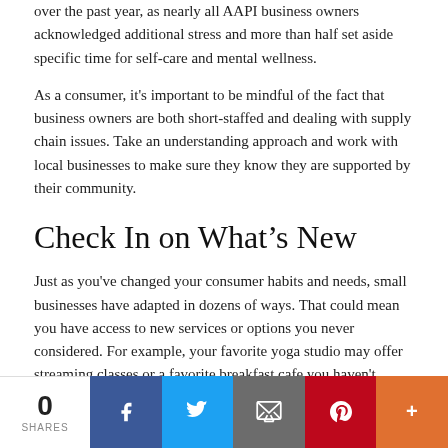over the past year, as nearly all AAPI business owners acknowledged additional stress and more than half set aside specific time for self-care and mental wellness.
As a consumer, it's important to be mindful of the fact that business owners are both short-staffed and dealing with supply chain issues. Take an understanding approach and work with local businesses to make sure they know they are supported by their community.
Check In on What's New
Just as you've changed your consumer habits and needs, small businesses have adapted in dozens of ways. That could mean you have access to new services or options you never considered. For example, your favorite yoga studio may offer streaming classes or a favorite breakfast cafe you haven't visited in a while might have an all-new menu. Take time to stop in and learn how your favorite businesses are changing with the times and see how those changes may suit your needs.
0 SHARES | Facebook | Twitter | Email | Pinterest | More